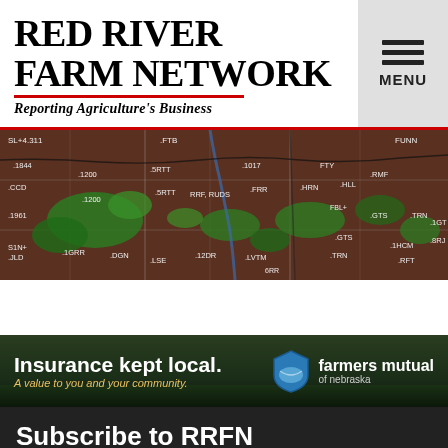RED RIVER FARM NETWORK
Reporting Agriculture's Business
[Figure (map): Weather radar map showing precipitation over a region with county boundaries, green areas indicating rainfall, and measurement labels scattered across the map]
[Figure (other): Farmers Mutual of Nebraska advertisement banner with text: Insurance kept local. A value to you and your community.]
Subscribe to RRFN
Get a weekly digest from RRFN to stay up-to-date on all the latest news in